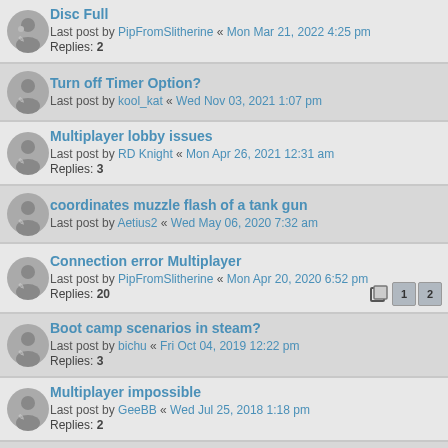Disc Full — Last post by PipFromSlitherine « Mon Mar 21, 2022 4:25 pm — Replies: 2
Turn off Timer Option? — Last post by kool_kat « Wed Nov 03, 2021 1:07 pm
Multiplayer lobby issues — Last post by RD Knight « Mon Apr 26, 2021 12:31 am — Replies: 3
coordinates muzzle flash of a tank gun — Last post by Aetius2 « Wed May 06, 2020 7:32 am
Connection error Multiplayer — Last post by PipFromSlitherine « Mon Apr 20, 2020 6:52 pm — Replies: 20 — Pages: 1 2
Boot camp scenarios in steam? — Last post by bichu « Fri Oct 04, 2019 12:22 pm — Replies: 3
Multiplayer impossible — Last post by GeeBB « Wed Jul 25, 2018 1:18 pm — Replies: 2
Feedback on game changes — Last post by phair2 « Sun Jun 17, 2018 5:47 pm — Replies: 3
Internal Error — Last post by zakblood « Wed Feb 14, 2018 6:23 pm — Replies: 33 — Pages: 1 2
How does one upgrade a copy of Panthers in the Fog